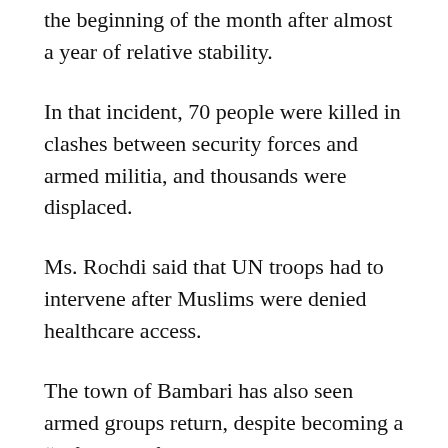the beginning of the month after almost a year of relative stability.
In that incident, 70 people were killed in clashes between security forces and armed militia, and thousands were displaced.
Ms. Rochdi said that UN troops had to intervene after Muslims were denied healthcare access.
The town of Bambari has also seen armed groups return, despite becoming a “safe haven for all communities” since last year, the UN official added.
The militia aimed to put pressure on the